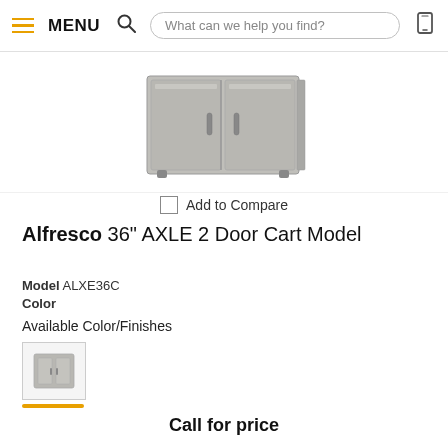MENU  What can we help you find?
[Figure (photo): Stainless steel Alfresco 36-inch AXLE 2 Door Cart with double doors and bar handles, shown from the front]
Add to Compare
Alfresco 36" AXLE 2 Door Cart Model
Model ALXE36C
Color
Available Color/Finishes
[Figure (photo): Small thumbnail image of the stainless steel finish option]
Call for price